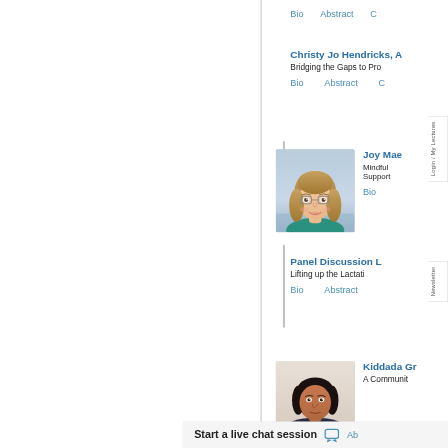Bio    Abstract
Christy Jo Hendricks, ... Bridging the Gaps to Pro...
Bio    Abstract
[Figure (photo): Photo of Joy Mae, a young woman with blonde hair and glasses, smiling]
Joy Mae... Mindful ... Support...
Bio
Panel Discussion L... Lifting up the Lactati...
Bio    Abstract
[Figure (photo): Photo of Kiddada Gr..., a woman with dark hair]
Kiddada Gr... A Communit...
Start a live chat session    Ab...